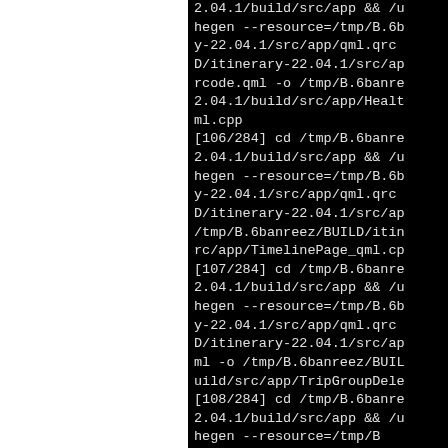2.04.1/build/src/app && /usr/bin/cmake -E cmake_rcc --verbose --name qml --root /tmp/B.6banreez/BUILD/itinerary-22.04.1/src/app/qml.qrc -o /tmp/B.6banreez/BUILD/itinerary-22.04.1/build/src/app/HealthCertificate_qml.cpp
[106/284] cd /tmp/B.6banreez/BUILD/itinerary-22.04.1/build/src/app && /usr/bin/cmake -E cmake_rcc --verbose --name qml --root /tmp/B.6banreez/BUILD/itinerary-22.04.1/src/app/qml.qrc -o /tmp/B.6banreez/BUILD/itinerary-22.04.1/build/src/app/TimelinePage_qml.cpp
[107/284] cd /tmp/B.6banreez/BUILD/itinerary-22.04.1/build/src/app && /usr/bin/cmake -E cmake_rcc --verbose --name qml --root /tmp/B.6banreez/BUILD/itinerary-22.04.1/src/app/qml.qrc -o /tmp/B.6banreez/BUILD/itinerary-22.04.1/build/src/app/TripGroupDeleteWarningPage_qml.cpp
[108/284] cd /tmp/B.6banreez/BUILD/itinerary-22.04.1/build/src/app && /usr/bin/cmake -E cmake_rcc --verbose --name qml --root /tmp/B.6banreez/BUILD/itinerary-22.04.1/src/app/qml.qrc -o /tmp/B.6banreez/BUILD